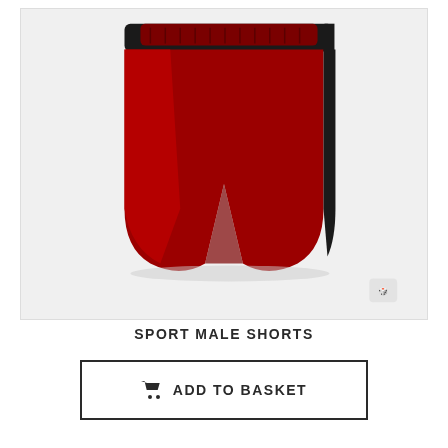[Figure (photo): Red sport male athletic shorts with black side stripe, displayed on a light gray background. The shorts have an elastic waistband and are shown from the front/back view.]
SPORT MALE SHORTS
ADD TO BASKET